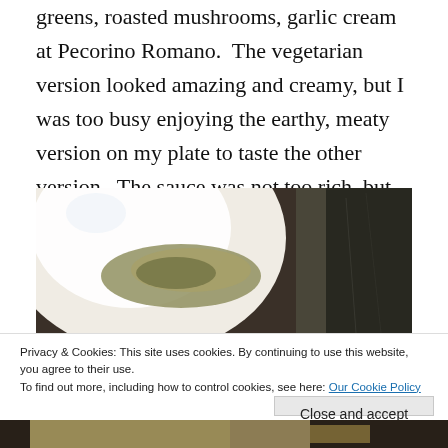greens, roasted mushrooms, garlic cream at Pecorino Romano. The vegetarian version looked amazing and creamy, but I was too busy enjoying the earthy, meaty version on my plate to taste the other version. The sauce was not too rich, but full of flavor and the morsels of beef and pork just melted in your mouth. I had never had gnocchi shaped quite like this before, almost like penne, but they were still light and toothsome
[Figure (photo): Photo of a white plate containing gnocchi dish with greens and sauce, set against a dark background]
Privacy & Cookies: This site uses cookies. By continuing to use this website, you agree to their use.
To find out more, including how to control cookies, see here: Our Cookie Policy
[Figure (photo): Partial photo of another dish at the bottom of the page]